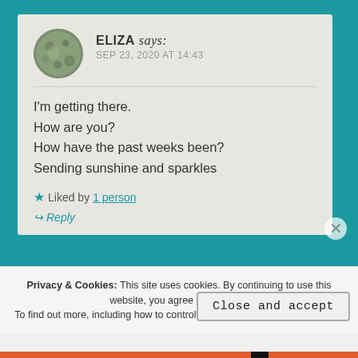ELIZA says: SEP 23, 2020 AT 14:43
I'm getting there.
How are you?
How have the past weeks been?
Sending sunshine and sparkles
★ Liked by 1 person
↪ Reply
Privacy & Cookies: This site uses cookies. By continuing to use this website, you agree to their use.
To find out more, including how to control cookies, see here: Cookie Policy
Close and accept